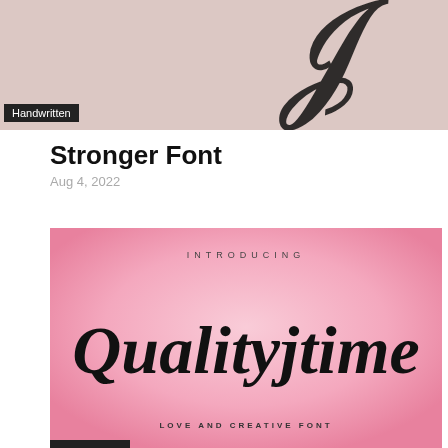[Figure (illustration): Top portion showing a cursive/script letter on pinkish-beige background with a black 'Handwritten' badge in lower left]
Stronger Font
Aug 4, 2022
[Figure (illustration): Pink gradient background with 'INTRODUCING' text at top, large cursive script 'Qualityjtime' in black, and 'LOVE AND CREATIVE FONT' at bottom]